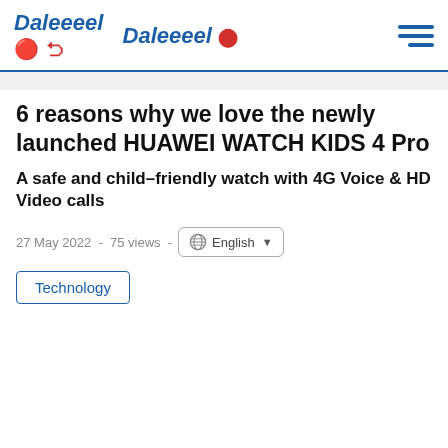Daleeeel
6 reasons why we love the newly launched HUAWEI WATCH KIDS 4 Pro
A safe and child-friendly watch with 4G Voice & HD Video calls
27 May 2022  -  75 views  -  English
Technology